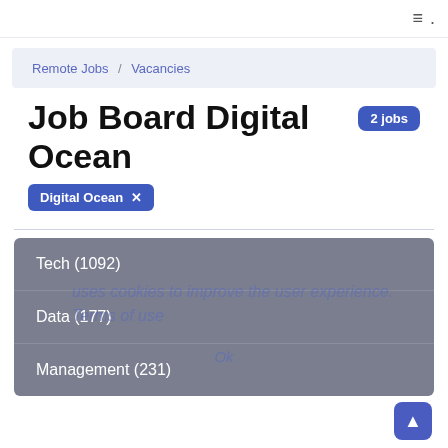≡ .
Remote Jobs / Vacancies
Job Board Digital Ocean  2 jobs
Digital Ocean  ✕
Tech (1092)
Data (177)
Management (231)
uses cookies to improve the user experience. Terms of use
Ok